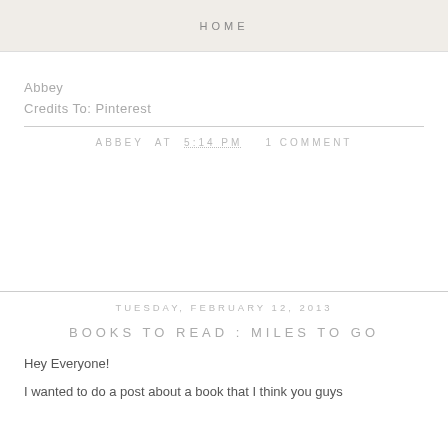HOME
Abbey
Credits To: Pinterest
ABBEY AT 5:14 PM   1 COMMENT
TUESDAY, FEBRUARY 12, 2013
BOOKS TO READ : MILES TO GO
Hey Everyone!
I wanted to do a post about a book that I think you guys